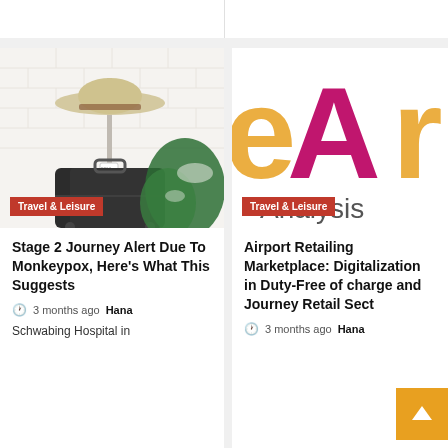[Figure (photo): Travel photo with a straw hat on a stand, a dark suitcase, luggage tags, and a large monstera leaf against a white brick wall]
Travel & Leisure
Stage 2 Journey Alert Due To Monkeypox, Here's What This Suggests
3 months ago  Hana
Schwabing Hospital in
[Figure (logo): Logo with large letters 'eAr' in pink/magenta and orange, and the word 'Analysis' in gray below]
Travel & Leisure
Airport Retailing Marketplace: Digitalization in Duty-Free of charge and Journey Retail Sect
3 months ago  Hana